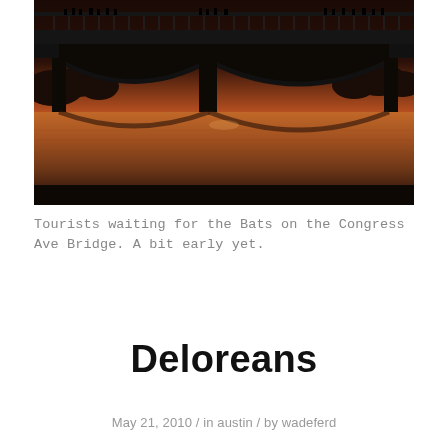[Figure (photo): Twilight/dusk photograph of the Congress Avenue Bridge in Austin, Texas. The bridge arches are visible as dark silhouettes against an orange-pink sunset sky, reflected in the Colorado River below. Silhouettes of people (tourists) can be seen standing on the bridge railing.]
Tourists waiting for the Bats on the Congress Ave Bridge. A bit early yet.
Deloreans
May 21, 2010 / in austin / by wadeferd